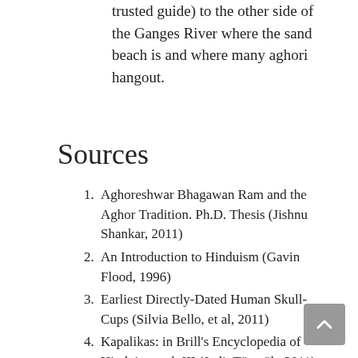trusted guide) to the other side of the Ganges River where the sand beach is and where many aghori hangout.
Sources
Aghoreshwar Bhagawan Ram and the Aghor Tradition. Ph.D. Thesis (Jishnu Shankar, 2011)
An Introduction to Hinduism (Gavin Flood, 1996)
Earliest Directly-Dated Human Skull-Cups (Silvia Bello, et al, 2011)
Kapalikas: in Brill's Encyclopedia of Hinduism vol. III (Judit Törzsök, 2011)